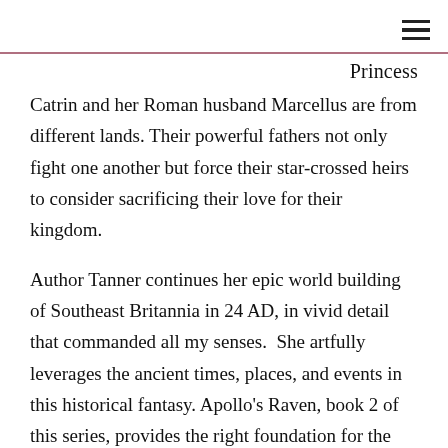≡
Princess Catrin and her Roman husband Marcellus are from different lands. Their powerful fathers not only fight one another but force their star-crossed heirs to consider sacrificing their love for their kingdom.
Author Tanner continues her epic world building of Southeast Britannia in 24 AD, in vivid detail that commanded all my senses.  She artfully leverages the ancient times, places, and events in this historical fantasy. Apollo's Raven, book 2 of this series, provides the right foundation for the reader or listener. The brutality of the action scenes